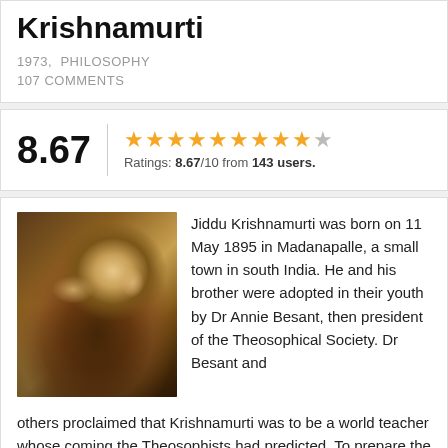Krishnamurti
1973,  PHILOSOPHY
107 COMMENTS
8.67  Ratings: 8.67/10 from 143 users.
[Figure (photo): Black and white portrait photo of Jiddu Krishnamurti, an elderly man]
Jiddu Krishnamurti was born on 11 May 1895 in Madanapalle, a small town in south India. He and his brother were adopted in their youth by Dr Annie Besant, then president of the Theosophical Society. Dr Besant and others proclaimed that Krishnamurti was to be a world teacher whose coming the Theosophists had predicted. To prepare the world for this coming, a world-wide